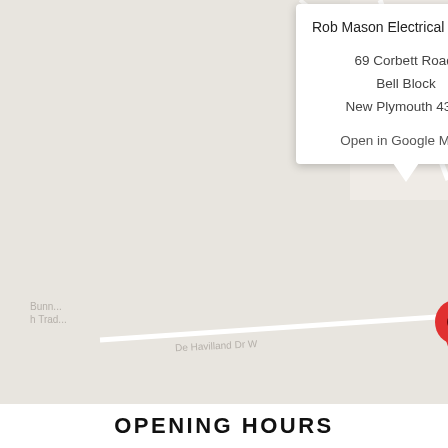[Figure (map): Google Maps screenshot showing location of Rob Mason Electrical Group at 69 Corbett Road, Bell Block, New Plymouth 4351. A red location pin marks the spot. Map labels visible include: Bunnings Trade, Industries, CPS New Plymouth, Woodwards Fi, Transport, w Plymouth, De Havilland Dr W, De Havilland Dr, Corbett Rd, AgriBio, Fulton Hogan.]
Rob Mason Electrical Group

69 Corbett Road,
Bell Block
New Plymouth 4351

Open in Google Maps
OPENING HOURS